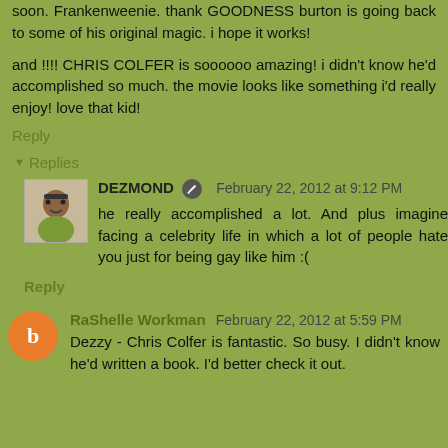soon. Frankenweenie. thank GOODNESS burton is going back to some of his original magic. i hope it works!
and !!!! CHRIS COLFER is soooooo amazing! i didn't know he'd accomplished so much. the movie looks like something i'd really enjoy! love that kid!
Reply
Replies
DEZMOND  February 22, 2012 at 9:12 PM
he really accomplished a lot. And plus imagine facing a celebrity life in which a lot of people hate you just for being gay like him :(
Reply
RaShelle Workman  February 22, 2012 at 5:59 PM
Dezzy - Chris Colfer is fantastic. So busy. I didn't know he'd written a book. I'd better check it out.